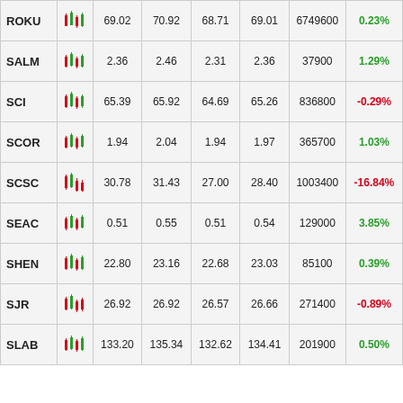| Symbol | Chart | Open | High | Low | Close | Volume | Change% |
| --- | --- | --- | --- | --- | --- | --- | --- |
| ROKU |  | 69.02 | 70.92 | 68.71 | 69.01 | 6749600 | 0.23% |
| SALM |  | 2.36 | 2.46 | 2.31 | 2.36 | 37900 | 1.29% |
| SCI |  | 65.39 | 65.92 | 64.69 | 65.26 | 836800 | -0.29% |
| SCOR |  | 1.94 | 2.04 | 1.94 | 1.97 | 365700 | 1.03% |
| SCSC |  | 30.78 | 31.43 | 27.00 | 28.40 | 1003400 | -16.84% |
| SEAC |  | 0.51 | 0.55 | 0.51 | 0.54 | 129000 | 3.85% |
| SHEN |  | 22.80 | 23.16 | 22.68 | 23.03 | 85100 | 0.39% |
| SJR |  | 26.92 | 26.92 | 26.57 | 26.66 | 271400 | -0.89% |
| SLAB |  | 133.20 | 135.34 | 132.62 | 134.41 | 201900 | 0.50% |